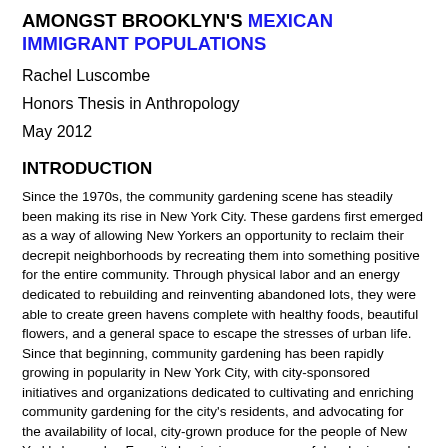AMONGST BROOKLYN'S MEXICAN IMMIGRANT POPULATIONS
Rachel Luscombe
Honors Thesis in Anthropology
May 2012
INTRODUCTION
Since the 1970s, the community gardening scene has steadily been making its rise in New York City. These gardens first emerged as a way of allowing New Yorkers an opportunity to reclaim their decrepit neighborhoods by recreating them into something positive for the entire community. Through physical labor and an energy dedicated to rebuilding and reinventing abandoned lots, they were able to create green havens complete with healthy foods, beautiful flowers, and a general space to escape the stresses of urban life. Since that beginning, community gardening has been rapidly growing in popularity in New York City, with city-sponsored initiatives and organizations dedicated to cultivating and enriching community gardening for the city's residents, and advocating for the availability of local, city-grown produce for the people of New York's boroughs. From its beginnings as a way of developing and